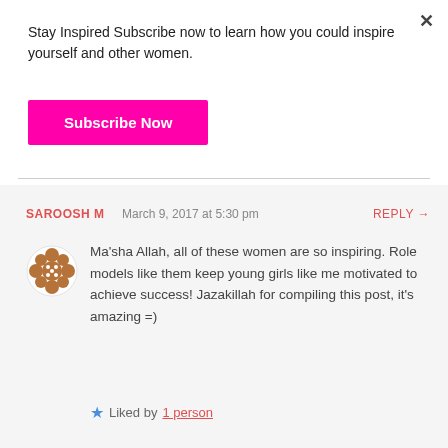Stay Inspired Subscribe now to learn how you could inspire yourself and other women.
Subscribe Now
SAROOSH M   March 9, 2017 at 5:30 pm   REPLY →
Ma'sha Allah, all of these women are so inspiring. Role models like them keep young girls like me motivated to achieve success! Jazakillah for compiling this post, it's amazing =)
Liked by 1 person